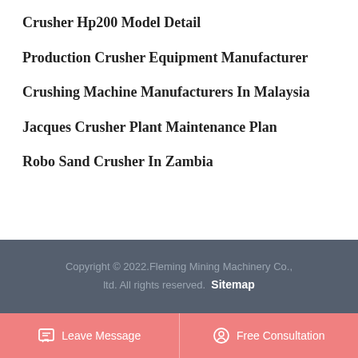Crusher Hp200 Model Detail
Production Crusher Equipment Manufacturer
Crushing Machine Manufacturers In Malaysia
Jacques Crusher Plant Maintenance Plan
Robo Sand Crusher In Zambia
Copyright © 2022.Fleming Mining Machinery Co., ltd. All rights reserved. Sitemap
Leave Message   Free Consultation